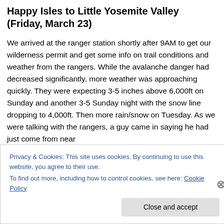Happy Isles to Little Yosemite Valley (Friday, March 23)
We arrived at the ranger station shortly after 9AM to get our wilderness permit and get some info on trail conditions and weather from the rangers. While the avalanche danger had decreased significantly, more weather was approaching quickly. They were expecting 3-5 inches above 6,000ft on Sunday and another 3-5 Sunday night with the snow line dropping to 4,000ft. Then more rain/snow on Tuesday. As we were talking with the rangers, a guy came in saying he had just come from near
Privacy & Cookies: This site uses cookies. By continuing to use this website, you agree to their use.
To find out more, including how to control cookies, see here: Cookie Policy